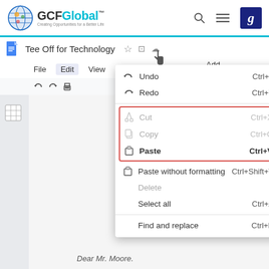[Figure (screenshot): GCFGlobal website navigation bar with logo, search and menu icons, and Goodwill badge]
[Figure (screenshot): Google Docs browser tab showing 'Tee Off for Technology' document with Edit menu open. Dropdown shows: Undo (Ctrl+Z), Redo (Ctrl+Y), Cut (Ctrl+X, greyed), Copy (Ctrl+C, greyed), Paste (Ctrl+V, highlighted with orange border), Paste without formatting (Ctrl+Shift+V), Delete (greyed), Select all (Ctrl+A), Find and replace (Ctrl+H). Bottom of document shows 'Dear Mr. Moore.']